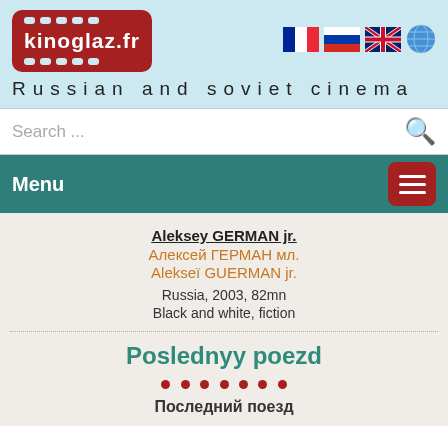[Figure (logo): kinoglaz.fr logo - red film strip style box with white text]
Russian and soviet cinema
Search ...
Menu
Aleksey GERMAN jr.
Алексей ГЕРМАН мл.
Alekseï GUERMAN jr.
Russia, 2003, 82mn
Black and white, fiction
Poslednyy poezd
Последний поезд